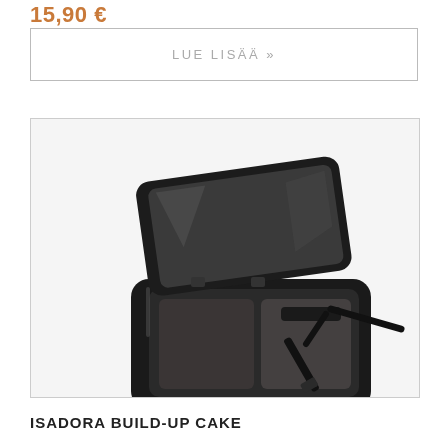15,90 €
LUE LISÄÄ »
[Figure (photo): An open black compact makeup case (Isadora Build-Up Cake) shown from above at an angle, with a mirror on the lid and a small applicator brush inside.]
ISADORA BUILD-UP CAKE